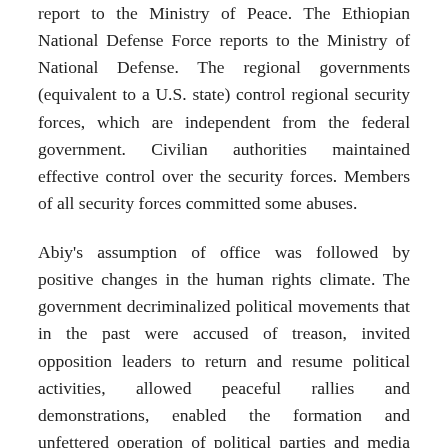report to the Ministry of Peace. The Ethiopian National Defense Force reports to the Ministry of National Defense. The regional governments (equivalent to a U.S. state) control regional security forces, which are independent from the federal government. Civilian authorities maintained effective control over the security forces. Members of all security forces committed some abuses.
Abiy's assumption of office was followed by positive changes in the human rights climate. The government decriminalized political movements that in the past were accused of treason, invited opposition leaders to return and resume political activities, allowed peaceful rallies and demonstrations, enabled the formation and unfettered operation of political parties and media outlets, and carried out legislative reform of repressive laws. The opening of political space has also met with challenges. Reforms are taking place in an environment with weak institutions including in the security sector. Ethnic tensions increased, resulting in